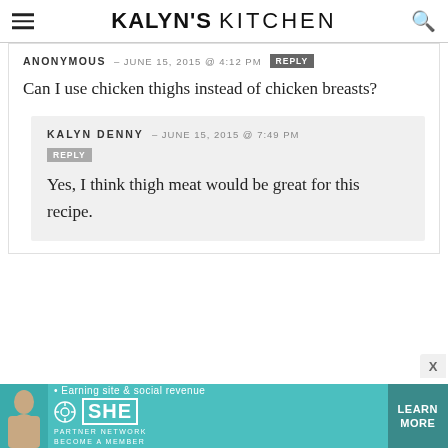KALYN'S KITCHEN
ANONYMOUS – JUNE 15, 2015 @ 4:12 PM [REPLY]
Can I use chicken thighs instead of chicken breasts?
KALYN DENNY – JUNE 15, 2015 @ 7:49 PM [REPLY]
Yes, I think thigh meat would be great for this recipe.
[Figure (infographic): SHE Partner Network advertisement banner with teal background, woman silhouette, text 'Earning site & social revenue', SHE logo, and 'LEARN MORE' button.]